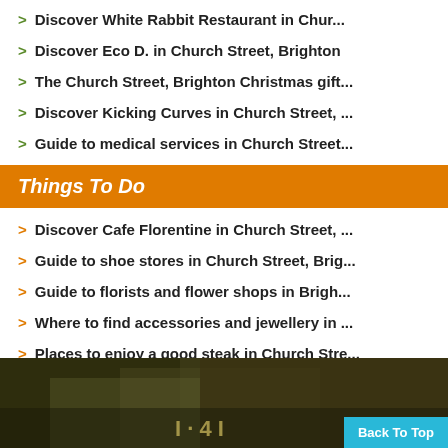> Discover White Rabbit Restaurant in Chur...
> Discover Eco D. in Church Street, Brighton
> The Church Street, Brighton Christmas gift...
> Discover Kicking Curves in Church Street, ...
> Guide to medical services in Church Street...
Things To Do
> Discover Cafe Florentine in Church Street, ...
> Guide to shoe stores in Church Street, Brig...
> Guide to florists and flower shops in Brigh...
> Where to find accessories and jewellery in ...
> Places to enjoy a good steak in Church Stre...
[Figure (photo): Dark background image of food/nature with a 'Back To Top' button overlay in cyan]